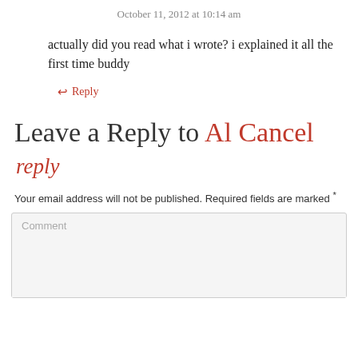October 11, 2012 at 10:14 am
actually did you read what i wrote? i explained it all the first time buddy
↩ Reply
Leave a Reply to Al Cancel reply
Your email address will not be published. Required fields are marked *
Comment